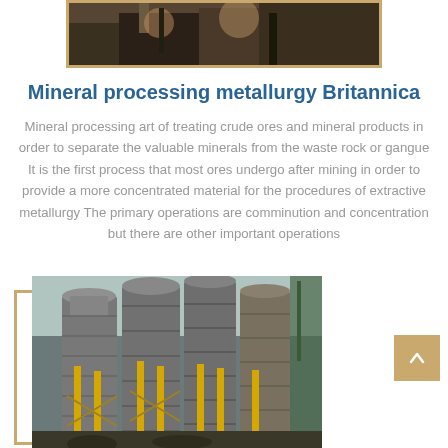[Figure (photo): Top portion of an industrial/metallurgy photo, partially visible at top of page, inside a tan border frame]
Mineral processing metallurgy Britannica
Mineral processing art of treating crude ores and mineral products in order to separate the valuable minerals from the waste rock or gangue It is the first process that most ores undergo after mining in order to provide a more concentrated material for the procedures of extractive metallurgy The primary operations are comminution and concentration but there are other important operations
[Figure (photo): Industrial mineral processing facility showing large grey cylindrical silos/tanks with yellow support columns and cranes in the background]